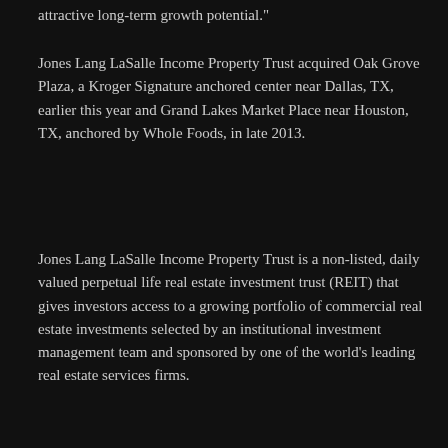attractive long-term growth potential."
Jones Lang LaSalle Income Property Trust acquired Oak Grove Plaza, a Kroger Signature anchored center near Dallas, TX, earlier this year and Grand Lakes Market Place near Houston, TX, anchored by Whole Foods, in late 2013.
Jones Lang LaSalle Income Property Trust is a non-listed, daily valued perpetual life real estate investment trust (REIT) that gives investors access to a growing portfolio of commercial real estate investments selected by an institutional investment management team and sponsored by one of the world's leading real estate services firms.